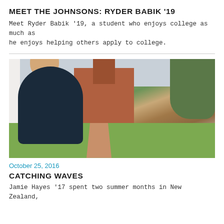MEET THE JOHNSONS: RYDER BABIK '19
Meet Ryder Babik '19, a student who enjoys college as much as he enjoys helping others apply to college.
[Figure (photo): Young man in dark blazer sitting on brick path in front of ivy-covered brick building with clock tower, green lawn, trees in background]
October 25, 2016
CATCHING WAVES
Jamie Hayes '17 spent two summer months in New Zealand,